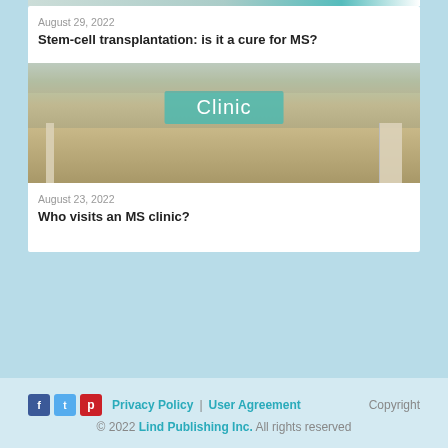[Figure (photo): Top strip partial photo, cropped at top of page]
August 29, 2022
Stem-cell transplantation: is it a cure for MS?
[Figure (photo): Exterior photo of a medical clinic building with a teal 'Clinic' sign above the entrance, bare trees visible in background]
August 23, 2022
Who visits an MS clinic?
Privacy Policy | User Agreement   Copyright © 2022 Lind Publishing Inc. All rights reserved